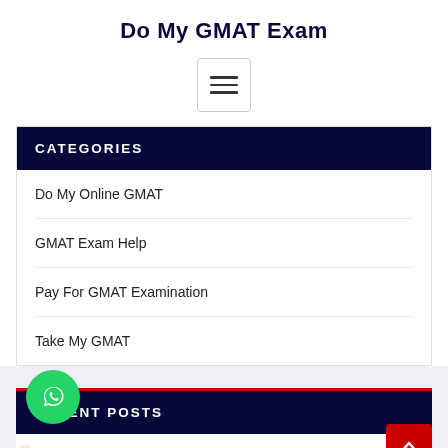Do My GMAT Exam
[Figure (screenshot): Hamburger menu button with three horizontal lines, bordered box]
CATEGORIES
Do My Online GMAT
GMAT Exam Help
Pay For GMAT Examination
Take My GMAT
RECENT POSTS
GetButton
Preparing For the GMAT Exam Level Seven